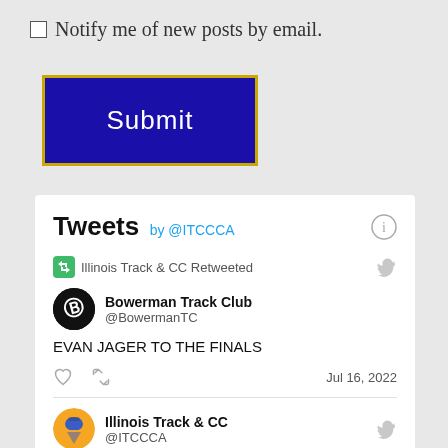Notify me of new posts by email.
[Figure (screenshot): Submit button — dark blue rectangle with gold border, white text reading 'Submit']
Tweets by @ITCCCA
Illinois Track & CC Retweeted
Bowerman Track Club @BowermanTC
EVAN JAGER TO THE FINALS
Jul 16, 2022
Illinois Track & CC @ITCCCA
The Wildwood running clinic, hosted at North Central College in Naperville, Illinois, is an elite...